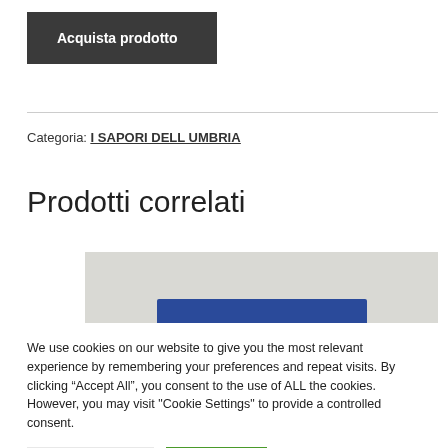Acquista prodotto
Categoria: I SAPORI DELL UMBRIA
Prodotti correlati
[Figure (photo): Product image partially visible with blue element on gray background]
We use cookies on our website to give you the most relevant experience by remembering your preferences and repeat visits. By clicking “Accept All”, you consent to the use of ALL the cookies. However, you may visit "Cookie Settings" to provide a controlled consent.
Cookie Settings
Accept All